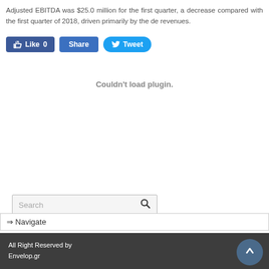Adjusted EBITDA was $25.0 million for the first quarter, a decrease compared with the first quarter of 2018, driven primarily by the de revenues.
[Figure (screenshot): Social media sharing buttons: Like 0 (Facebook), Share (Facebook), Tweet (Twitter)]
Couldn't load plugin.
Search
⇒ Navigate
All Right Reserved by
Envelop.gr